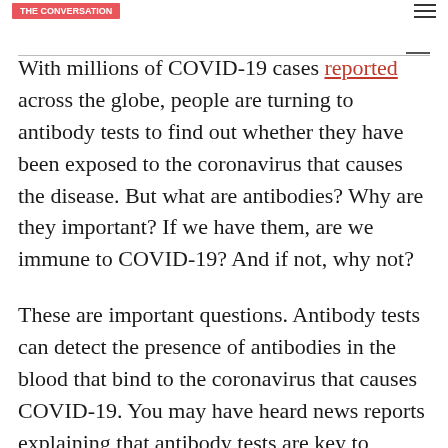With millions of COVID-19 cases reported across the globe, people are turning to antibody tests to find out whether they have been exposed to the coronavirus that causes the disease. But what are antibodies? Why are they important? If we have them, are we immune to COVID-19? And if not, why not?
These are important questions. Antibody tests can detect the presence of antibodies in the blood that bind to the coronavirus that causes COVID-19. You may have heard news reports explaining that antibody tests are key to slowing the infection rate. You may also have heard medical experts warn that